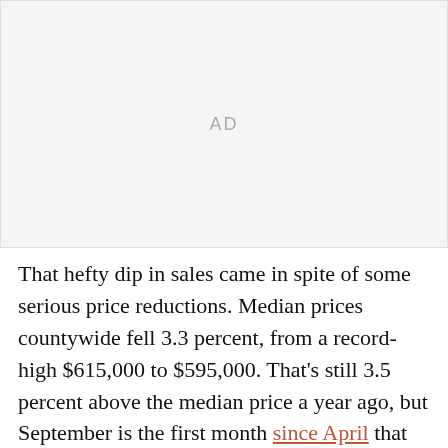[Figure (other): Advertisement placeholder block with 'AD' label]
That hefty dip in sales came in spite of some serious price reductions. Median prices countywide fell 3.3 percent, from a record-high $615,000 to $595,000. That's still 3.5 percent above the median price a year ago, but September is the first month since April that the median price has fallen below the $600,000 mark.